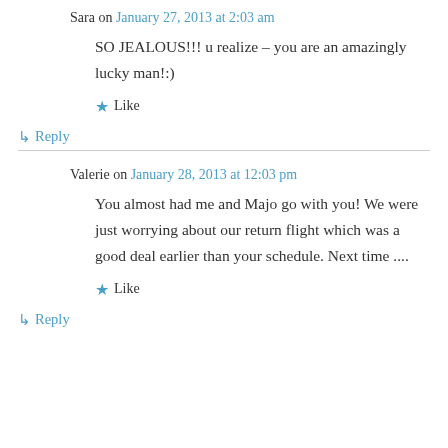Sara on January 27, 2013 at 2:03 am
SO JEALOUS!!! u realize – you are an amazingly lucky man!:)
★ Like
↳ Reply
Valerie on January 28, 2013 at 12:03 pm
You almost had me and Majo go with you! We were just worrying about our return flight which was a good deal earlier than your schedule. Next time ....
★ Like
↳ Reply